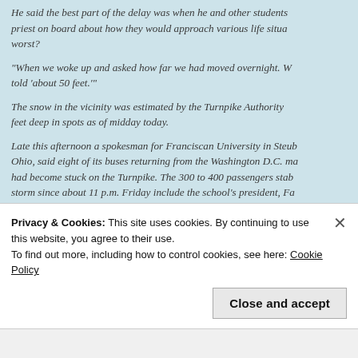He said the best part of the delay was when he and other students spoke with a priest on board about how they would approach various life situations at their worst?
“When we woke up and asked how far we had moved overnight. We were told ‘about 50 feet.’”
The snow in the vicinity was estimated by the Turnpike Authority to be several feet deep in spots as of midday today.
Late this afternoon a spokesman for Franciscan University in Steubenville, Ohio, said eight of its buses returning from the Washington D.C. march had become stuck on the Turnpike. The 300 to 400 passengers stalled by the storm since about 11 p.m. Friday include the school’s president, Father Sheridan, spokesman Tom Sofio said.
Privacy & Cookies: This site uses cookies. By continuing to use this website, you agree to their use.
To find out more, including how to control cookies, see here: Cookie Policy